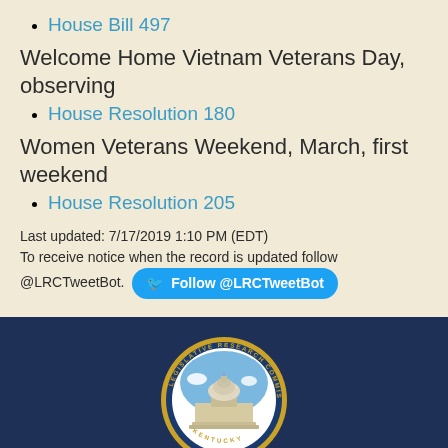House Bill 497
Welcome Home Vietnam Veterans Day, observing
House Resolution 180
Women Veterans Weekend, March, first weekend
House Resolution 205
Last updated: 7/17/2019 1:10 PM (EDT)
To receive notice when the record is updated follow @LRCTweetBot.  Follow @LRCTweetBot
[Figure (logo): Legislative Research Commission Kentucky seal logo — circular seal with capitol dome, blue and white, gold border ring, text around circumference reading LEGISLATIVE RESEARCH COMMISSION KENTUCKY]